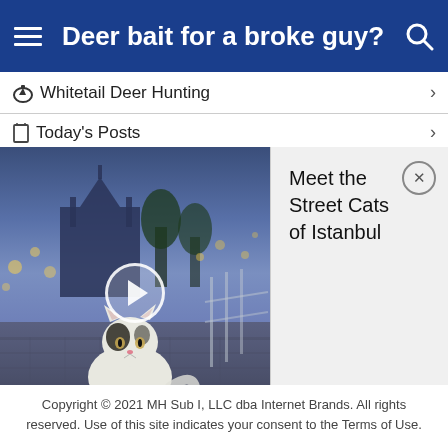Deer bait for a broke guy?
Whitetail Deer Hunting
Today's Posts
[Figure (photo): Video thumbnail showing a cat sitting on a cobblestone street in Istanbul at dusk with mosque in background and bokeh street lights, with a circular play button overlay. Adjacent panel shows ad title 'Meet the Street Cats of Istanbul' with a close button.]
Copyright © 2021 MH Sub I, LLC dba Internet Brands. All rights reserved. Use of this site indicates your consent to the Terms of Use.